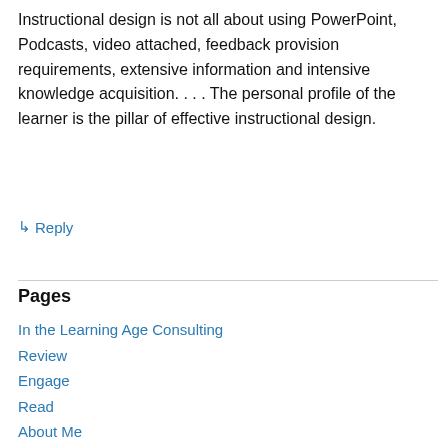Instructional design is not all about using PowerPoint, Podcasts, video attached, feedback provision requirements, extensive information and intensive knowledge acquisition. . . . The personal profile of the learner is the pillar of effective instructional design.
↳ Reply
Pages
In the Learning Age Consulting
Review
Engage
Read
About Me
Contact